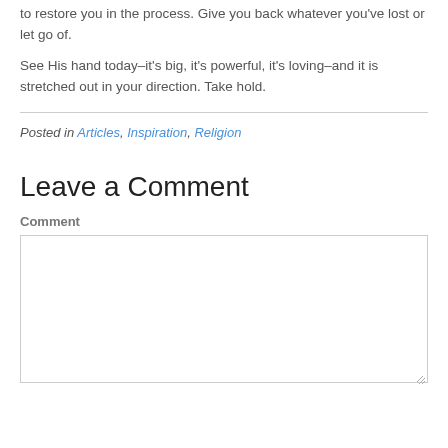to restore you in the process. Give you back whatever you've lost or let go of.
See His hand today–it's big, it's powerful, it's loving–and it is stretched out in your direction. Take hold.
Posted in Articles, Inspiration, Religion
Leave a Comment
Comment